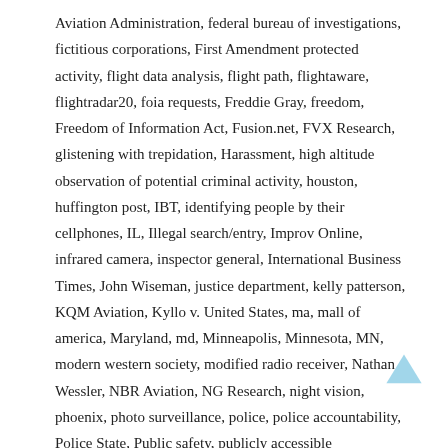Aviation Administration, federal bureau of investigations, fictitious corporations, First Amendment protected activity, flight data analysis, flight path, flightaware, flightradar20, foia requests, Freddie Gray, freedom, Freedom of Information Act, Fusion.net, FVX Research, glistening with trepidation, Harassment, high altitude observation of potential criminal activity, houston, huffington post, IBT, identifying people by their cellphones, IL, Illegal search/entry, Improv Online, infrared camera, inspector general, International Business Times, John Wiseman, justice department, kelly patterson, KQM Aviation, Kyllo v. United States, ma, mall of america, Maryland, md, Minneapolis, Minnesota, MN, modern western society, modified radio receiver, Nathan Wessler, NBR Aviation, NG Research, night vision, phoenix, photo surveillance, police, police accountability, Police State, Public safety, publicly accessible information, PXW Services, rapid response by police officials on the ground, reddit, rights, Robert Lindley, Ronald Reagan Washington National Airport, scanbaltimore.com, seattle, Southern California, subliminal pressure, Supreme Court, Surveillance, suspicious planes